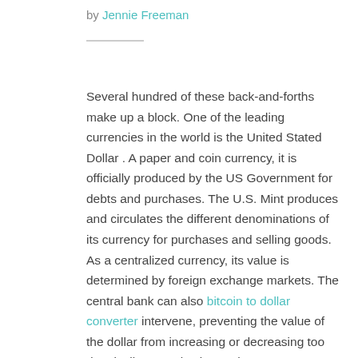by Jennie Freeman
Several hundred of these back-and-forths make up a block. One of the leading currencies in the world is the United Stated Dollar . A paper and coin currency, it is officially produced by the US Government for debts and purchases. The U.S. Mint produces and circulates the different denominations of its currency for purchases and selling goods. As a centralized currency, its value is determined by foreign exchange markets. The central bank can also bitcoin to dollar converter intervene, preventing the value of the dollar from increasing or decreasing too drastically. Buy Bitcoin or other cryptocurrencies instantly using your Visa or Mastercard credit or debit card in a Buy/Sell section. The process of purchase is straightforward and quick. All you have to do is to indicate how many Dollars you want to spend on Bitcoins, and CEX.IO Instant Buy